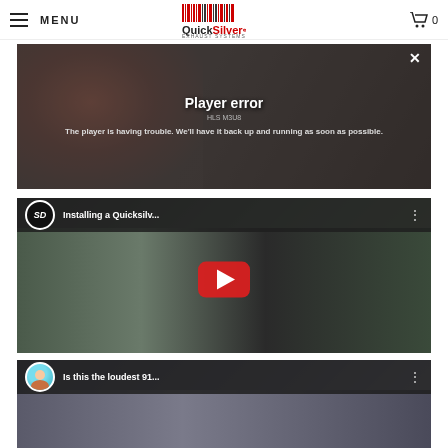MENU | QuickSilver Exhaust Systems | Cart 0
[Figure (screenshot): Video player error overlay showing a blurred background of a person in sunglasses with a red shirt. White text reads 'Player error' with subtext and message: 'The player is having trouble. We'll have it back up and running as soon as possible.' A close (X) button is in the top-right corner.]
[Figure (screenshot): YouTube video thumbnail for 'Installing a Quicksilv...' showing a person in a blue shirt crouching next to a black sports car. An 'SD' channel logo is in the top-left and a red YouTube play button is centered. The three-dot menu icon is in the top-right.]
[Figure (screenshot): YouTube video thumbnail for 'Is this the loudest 91...' showing two people with sunglasses near a dark car. A circular avatar with a smiling person is in the top-left corner. The three-dot menu icon is in the top-right.]